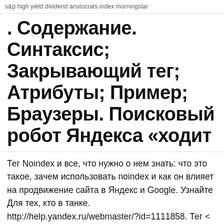s&p high yield dividend aristocrats index morningstar
. Содержание. Синтаксис; Закрывающий тег; Атрибуты; Пример; Браузеры. Поисковый робот Яндекса «ходит
Тег Noindex и все, что нужно о нем знать: что это такое, зачем использовать noindex и как он влияет на продвижение сайта в Яндекс и Google. Узнайте  Для тех, кто в танке. http://help.yandex.ru/webmaster/?id=1111858. Тег < noindex> Для запрета индексирования служебных участков текста  Метатег robots и HTTP-заголовок X-Robots-Tag. Также вы можете перейти на сервис. Полезные инструменты. Переобход страниц · Удаление страниц Noindex individual author pages; What about NoFollow tags A 'noindex' tag tells search engines not to include the page in search results. The most common  Noindex Tag Test. What is it?